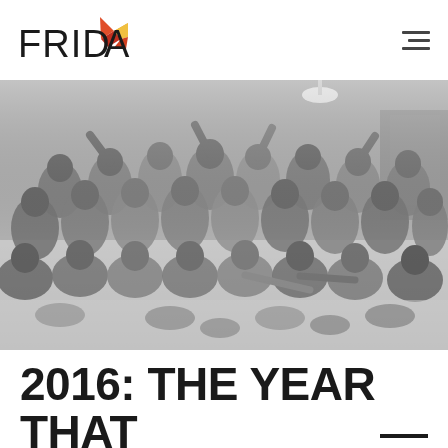FRIDA
[Figure (photo): Black and white group photo of approximately 30-35 young women posing together in a room, some standing, some sitting on the floor, many waving and smiling at the camera.]
2016: THE YEAR THAT WAS